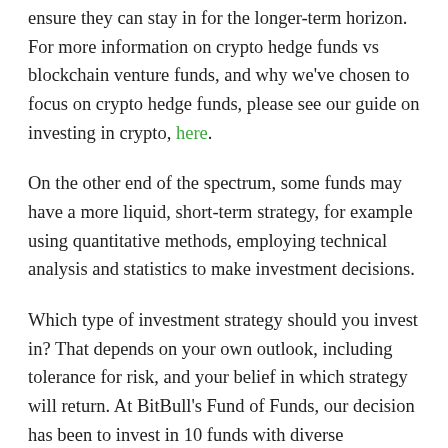ensure they can stay in for the longer-term horizon. For more information on crypto hedge funds vs blockchain venture funds, and why we've chosen to focus on crypto hedge funds, please see our guide on investing in crypto, here.
On the other end of the spectrum, some funds may have a more liquid, short-term strategy, for example using quantitative methods, employing technical analysis and statistics to make investment decisions.
Which type of investment strategy should you invest in? That depends on your own outlook, including tolerance for risk, and your belief in which strategy will return. At BitBull's Fund of Funds, our decision has been to invest in 10 funds with diverse strategies; diversification can reduce the risk associated with returns.